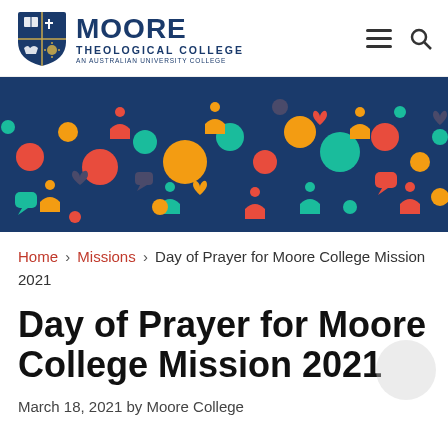[Figure (logo): Moore Theological College logo with shield crest and text]
[Figure (illustration): Banner image with colorful crowd/people icons and speech bubbles on a dark navy background]
Home > Missions > Day of Prayer for Moore College Mission 2021
Day of Prayer for Moore College Mission 2021
March 18, 2021 by Moore College